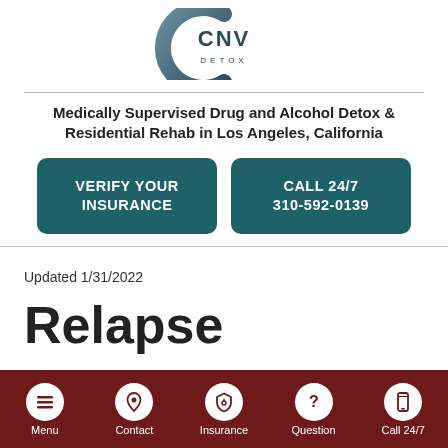[Figure (logo): CNV Detox logo with stylized C shape and text CNV DETOX]
Medically Supervised Drug and Alcohol Detox & Residential Rehab in Los Angeles, California
VERIFY YOUR INSURANCE
CALL 24/7 310-592-0139
Updated 1/31/2022
Relapse
Menu  Contact  Insurance  Question  Call 24/7